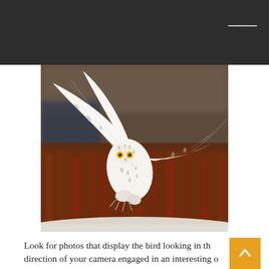[Figure (photo): A snowy white owl in flight, wings spread wide, looking directly at the camera with bright yellow eyes. Dark blurred background of reddish-brown vegetation. The owl's white feathers have black speckle markings. Talons visible beneath body.]
Look for photos that display the bird looking in the direction of your camera engaged in an interesting or behavioral pose  (i.e. eating/catching a bug, in flight, singing etc.). These poses help to make your photos